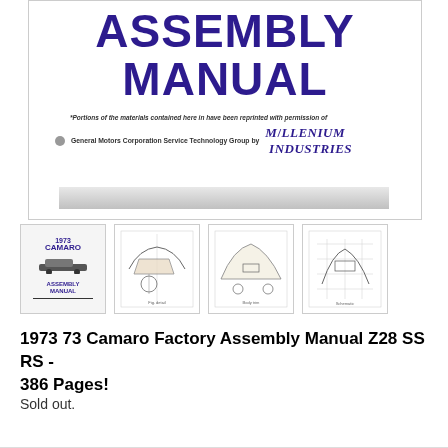[Figure (photo): Cover of 1973 Camaro Assembly Manual showing title in large purple bold text 'ASSEMBLY MANUAL' with permission notice from General Motors Corporation Service Technology Group reprinted by Millenium Industries, with a gray horizontal bar at the bottom]
[Figure (photo): Thumbnail of the 1973 Camaro Assembly Manual front cover showing the year 1973, model name CAMARO, car illustration, and title ASSEMBLY MANUAL]
[Figure (engineering-diagram): Thumbnail showing a technical diagram/illustration from the assembly manual, appears to be a mechanical component]
[Figure (engineering-diagram): Thumbnail showing a technical diagram from the assembly manual, appears to be body or trim components]
[Figure (engineering-diagram): Thumbnail showing a technical diagram from the assembly manual with grid layout]
1973 73 Camaro Factory Assembly Manual Z28 SS RS - 386 Pages!
Sold out.